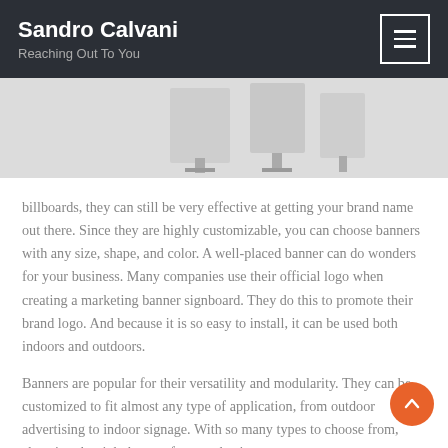Sandro Calvani
Reaching Out To You
[Figure (photo): Partial view of banner/signboard display stands against a light background, cropped at top of content area]
billboards, they can still be very effective at getting your brand name out there. Since they are highly customizable, you can choose banners with any size, shape, and color. A well-placed banner can do wonders for your business. Many companies use their official logo when creating a marketing banner signboard. They do this to promote their brand logo. And because it is so easy to install, it can be used both indoors and outdoors.
Banners are popular for their versatility and modularity. They can be customized to fit almost any type of application, from outdoor advertising to indoor signage. With so many types to choose from, choosing the right banner for your business